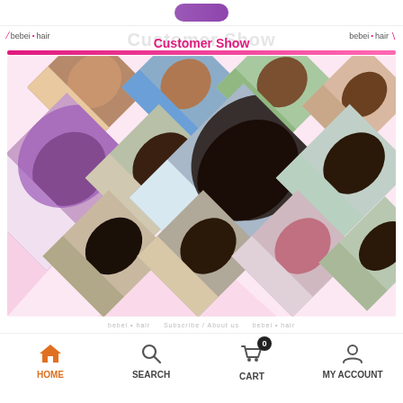[Figure (screenshot): Top portion of an e-commerce hair products website showing a partial purple brand logo at the very top]
Customer Show
[Figure (photo): Customer Show section with a pink banner and a collage of diamond-shaped photos showing women with various hair styles including curly, straight, wavy, and colored hair]
Super Discount For Wholesale
HOME   SEARCH   CART 0   MY ACCOUNT